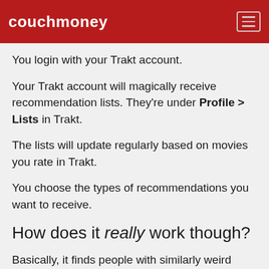couchmoney
You login with your Trakt account.
Your Trakt account will magically receive recommendation lists. They're under Profile > Lists in Trakt.
The lists will update regularly based on movies you rate in Trakt.
You choose the types of recommendations you want to receive.
How does it really work though?
Basically, it finds people with similarly weird tastes to you, and recommends films and TV that they like more than average people.